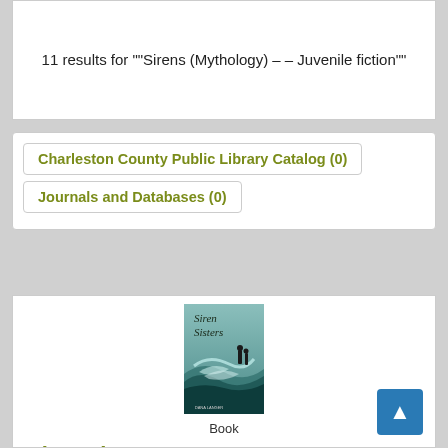11 results for ""Sirens (Mythology) -- Juvenile fiction""
Charleston County Public Library Catalog (0)
Journals and Databases (0)
[Figure (illustration): Book cover of 'Siren Sisters' with teal ocean waves and silhouetted figures]
Book
Siren sisters.
Authors : Langer, Dana
Subjects: Sirens (Mythology) -- Juvenile fiction; Sisters -- Juvenile fiction;